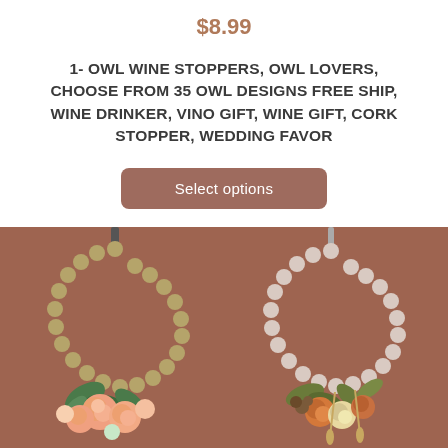$8.99
1- OWL WINE STOPPERS, OWL LOVERS, CHOOSE FROM 35 OWL DESIGNS FREE SHIP, WINE DRINKER, VINO GIFT, WINE GIFT, CORK STOPPER, WEDDING FAVOR
Select options
[Figure (photo): Two decorative bead wreaths on a brown/terracotta background. Left wreath has olive/tan wooden beads with pink/peach flowers and green leaves at the bottom. Right wreath has light pink/blush beads with orange and cream dried floral arrangement at the bottom.]